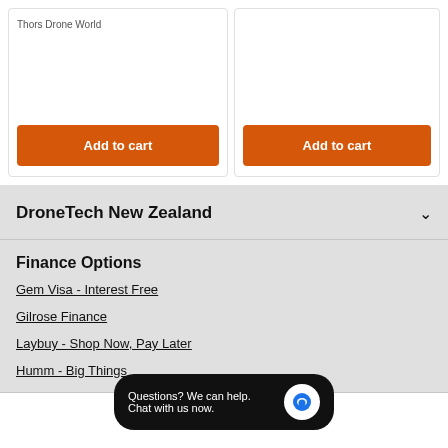Thors Drone World
Add to cart
Add to cart
DroneTech New Zealand
Finance Options
Gem Visa - Interest Free
Gilrose Finance
Laybuy - Shop Now, Pay Later
Humm - Big Things
Questions? We can help. Chat with us now.